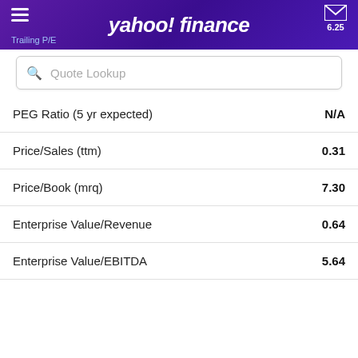yahoo! finance | Trailing P/E 6.25
Quote Lookup
| Metric | Value |
| --- | --- |
| PEG Ratio (5 yr expected) | N/A |
| Price/Sales (ttm) | 0.31 |
| Price/Book (mrq) | 7.30 |
| Enterprise Value/Revenue | 0.64 |
| Enterprise Value/EBITDA | 5.64 |